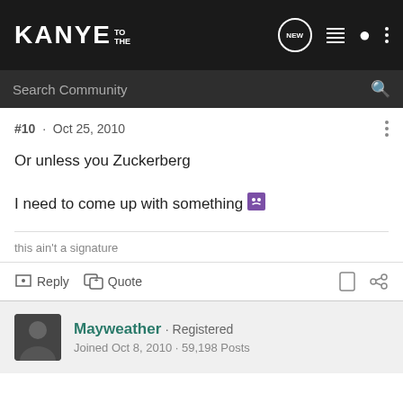KANYE TO THE — Search Community
#10 · Oct 25, 2010
Or unless you Zuckerberg

I need to come up with something 😛
this ain't a signature
Reply   Quote
Mayweather · Registered
Joined Oct 8, 2010 · 59,198 Posts